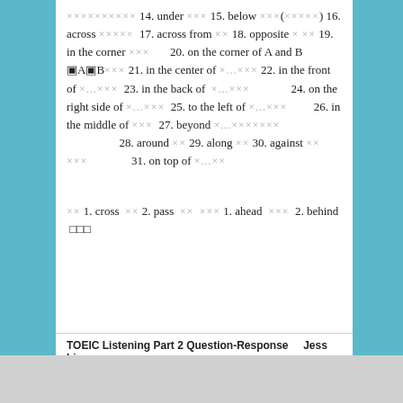xxxxxxxxxx 14. under xxx 15. below xxx(xxxxx) 16. across xxxxx 17. across from xx 18. opposite x xx 19. in the corner xxx   20. on the corner of A and B [A][B]xxx 21. in the center of x...xxx 22. in the front of x...xxx 23. in the back of x...xxx   24. on the right side of x...xxx 25. to the left of x...xxx   26. in the middle of xxx 27. beyond x...xxxxxxx   28. around xx 29. along xx 30. against xx xxx   31. on top of x...xx
xx 1. cross xx 2. pass xx xxx 1. ahead xxx 2. behind □□□
TOEIC Listening Part 2 Question-Response   Jess Lin □□ □□